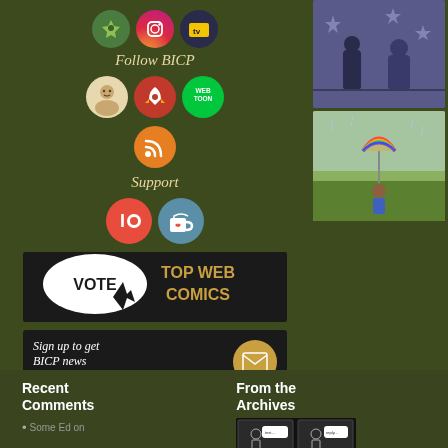[Figure (other): Social media icons row: green pin/Stash icon, Instagram icon, TV icon]
Follow BICP
[Figure (other): Follow icons: avatar circle, red rocket icon, WebToon green badge, orange RSS feed icon]
Support
[Figure (other): Support icons: red Patreon-style icon, blue Ko-fi cup icon]
[Figure (other): Vote TopWebComics banner]
[Figure (other): Sign up to get BICP news in your inbox banner with envelope icon]
[Figure (photo): Anime/comic art thumbnail - two figures with stars background]
[Figure (photo): Art thumbnail - child with rainbow umbrella in rain/grass scene]
Recent Comments
From the Archives
Some Ed on
[Figure (other): Comic strip archive thumbnail - black and white comic panels]